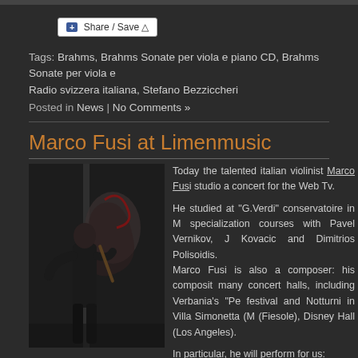[Figure (other): Share / Save button widget]
Tags: Brahms, Brahms Sonate per viola e piano CD, Brahms Sonate per viola e Radio svizzera italiana, Stefano Bezziccheri
Posted in News | No Comments »
Marco Fusi at Limenmusic
[Figure (photo): Photo of Marco Fusi, italian violinist, standing in an urban setting with graffiti background, holding a violin]
Today the talented italian violinist Marco Fusi studio a concert for the Web Tv.

He studied at "G.Verdi" conservatoire in M specialization courses with Pavel Vernikov, J Kovacic and Dimitrios Polisoidis.
Marco Fusi is also a composer: his composit many concert halls, including Verbania's "Pe festival and Notturni in Villa Simonetta (M (Fiesole), Disney Hall (Los Angeles).

In particular, he will perform for us: